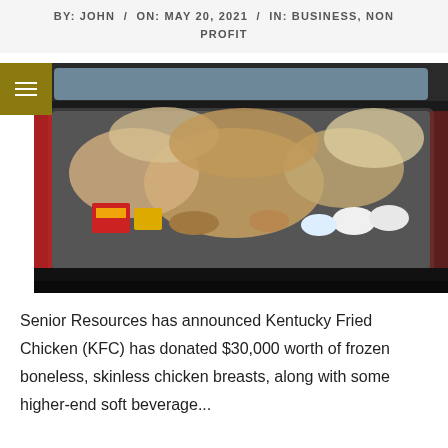BY: JOHN / ON: MAY 20, 2021 / IN: BUSINESS, NON PROFIT
[Figure (photo): Open car trunk filled with bags of frozen chicken, food boxes, and other grocery items, viewed from behind the car.]
Senior Resources has announced Kentucky Fried Chicken (KFC) has donated $30,000 worth of frozen boneless, skinless chicken breasts, along with...